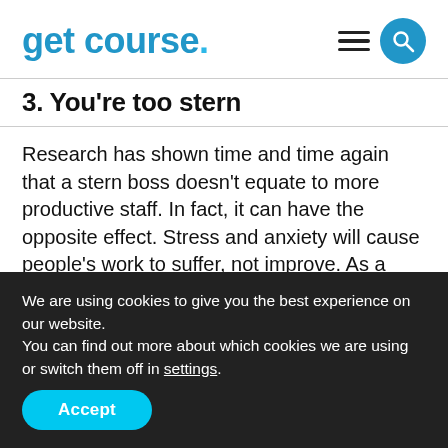get course.
3. You're too stern
Research has shown time and time again that a stern boss doesn't equate to more productive staff. In fact, it can have the opposite effect. Stress and anxiety will cause people's work to suffer, not improve. As a boss, it's so important to have empathy and humility. The relationship with your staff is something that works both ways, they benefit you by doing their work and
We are using cookies to give you the best experience on our website.
You can find out more about which cookies we are using or switch them off in settings.
Accept